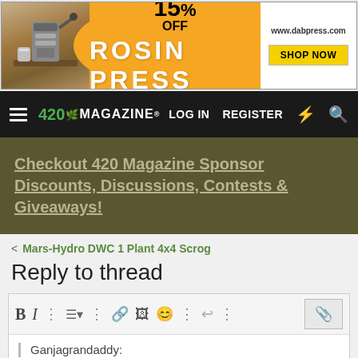[Figure (other): Advertisement banner for DabPress Rosin Press with 15% off offer, orange branding, shop now button and www.dabpress.com URL]
420 MAGAZINE | LOG IN | REGISTER
Checkout 420 Magazine Sponsor Discounts, Discussions, Contests & Giveaways!
< Mars-Hydro DWC 1 Plant 4x4 Scrog
Reply to thread
[Figure (screenshot): Text editor toolbar with Bold, Italic, more options, list, more, link, image, emoji, more, undo, more buttons and an attachment icon on the right]
Ganjagrandaddy:
Post reply